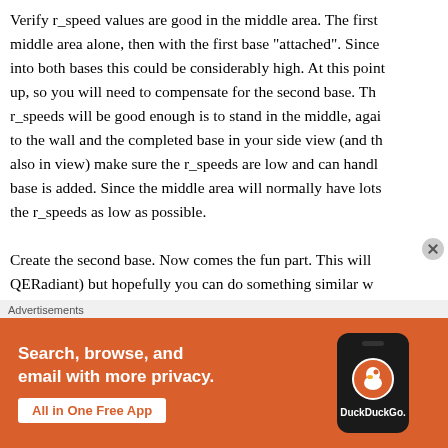Verify r_speed values are good in the middle area. The first middle area alone, then with the first base "attached". Since into both bases this could be considerably high. At this point up, so you will need to compensate for the second base. Th r_speeds will be good enough is to stand in the middle, agai to the wall and the completed base in your side view (and th also in view) make sure the r_speeds are low and can handl base is added. Since the middle area will normally have lots the r_speeds as low as possible.
Create the second base. Now comes the fun part. This will QERadiant) but hopefully you can do something similar w
[Figure (other): DuckDuckGo advertisement banner: orange background with text 'Search, browse, and email with more privacy.' and 'All in One Free App' button, alongside a phone mockup with DuckDuckGo logo.]